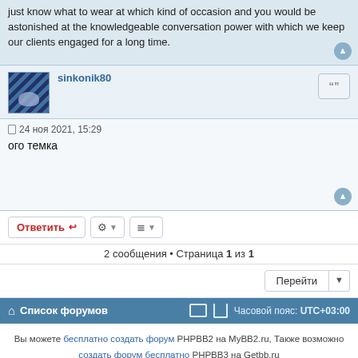just know what to wear at which kind of occasion and you would be astonished at the knowledgeable conversation power with which we keep our clients engaged for a long time.
sinkonik80
24 ноя 2021, 15:29
ого темка
Ответить
2 сообщения • Страница 1 из 1
Перейти
Список форумов  Часовой пояс: UTC+03:00
Вы можете бесплатно создать форум PHPBB2 на MyBB2.ru, Также возможно создать форум бесплатно PHPBB3 на Getbb.ru
Создано на основе phpBB® Forum Software © phpBB Limited
Русская поддержка phpBB
Конфиденциальность | Правила